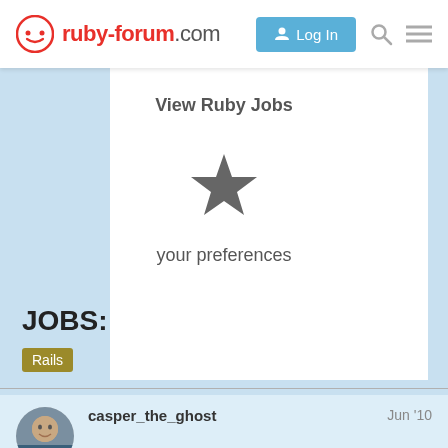ruby-forum.com | Log In
View Ruby Jobs
[Figure (illustration): Star/bookmark icon representing preferences]
your preferences
JOBS: Rails developer, NYC
Rails
casper_the_ghost  Jun '10